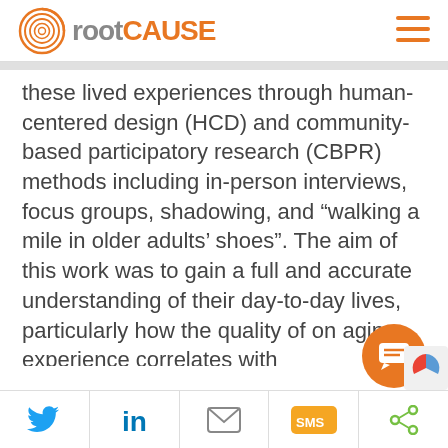[Figure (logo): rootCAUSE logo with spiral fingerprint icon, 'root' in gray and 'CAUSE' in orange, hamburger menu icon on right]
these lived experiences through human-centered design (HCD) and community-based participatory research (CBPR) methods including in-person interviews, focus groups, shadowing, and “walking a mile in older adults’ shoes”. The aim of this work was to gain a full and accurate understanding of their day-to-day lives, particularly how the quality of one’s aging experience correlates with
[Figure (screenshot): Orange circular chat button with white speech bubble icon]
[Figure (screenshot): Social sharing bar with Twitter, LinkedIn, email, SMS, and share icons]